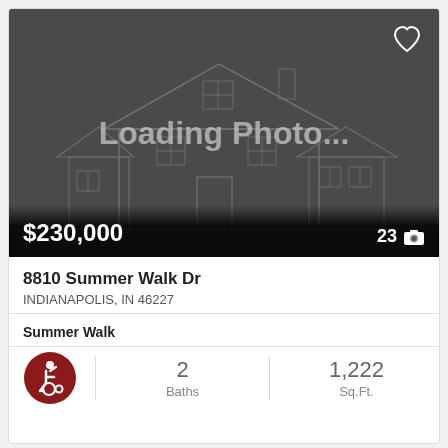[Figure (photo): Real estate listing card placeholder showing a house outline sketch on dark gray background with 'Loading Photo...' text, a heart icon in top right, price $230,000 bottom left, and photo count 23 with camera icon bottom right.]
8810 Summer Walk Dr
INDIANAPOLIS, IN 46227
Summer Walk
2
Baths
1,222
Sq.Ft.